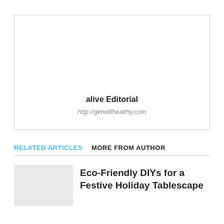[Figure (other): Author profile box with border, showing author name and website URL]
alive Editorial
http://getwillhealthy.com
RELATED ARTICLES   MORE FROM AUTHOR
Eco-Friendly DIYs for a Festive Holiday Tablescape